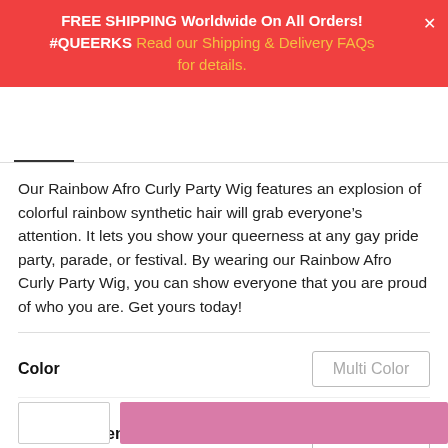FREE SHIPPING Worldwide On All Orders! #QUEERKS  Read our Shipping & Delivery FAQs for details.
Our Rainbow Afro Curly Party Wig features an explosion of colorful rainbow synthetic hair will grab everyone’s attention. It lets you show your queerness at any gay pride party, parade, or festival. By wearing our Rainbow Afro Curly Party Wig, you can show everyone that you are proud of who you are. Get yours today!
Color   Multi Color
Stretched Length   6inches